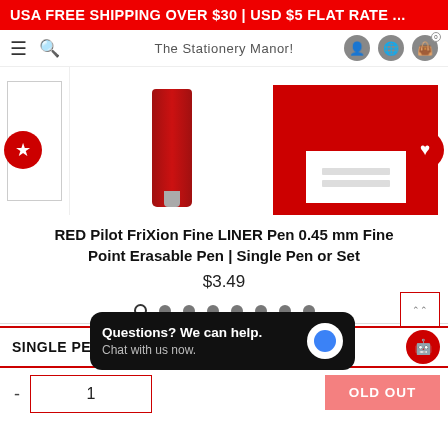USA FREE SHIPPING OVER $30 | USD $5 FLAT RATE ...
The Stationery Manor!
[Figure (screenshot): Product images: left partial white box, center red pen, right red box packaging]
RED Pilot FriXion Fine LINER Pen 0.45 mm Fine Point Erasable Pen | Single Pen or Set
$3.49
SINGLE PEN
1
Questions? We can help. Chat with us now.
OLD OUT